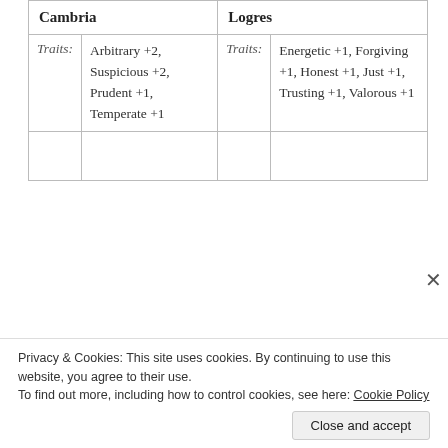| Cambria |  | Logres |  |
| --- | --- | --- | --- |
| Traits: | Arbitrary +2, Suspicious +2, Prudent +1, Temperate +1 | Traits: | Energetic +1, Forgiving +1, Honest +1, Just +1, Trusting +1, Valorous +1 |
|  |  |  |  |
Privacy & Cookies: This site uses cookies. By continuing to use this website, you agree to their use.
To find out more, including how to control cookies, see here: Cookie Policy
Close and accept